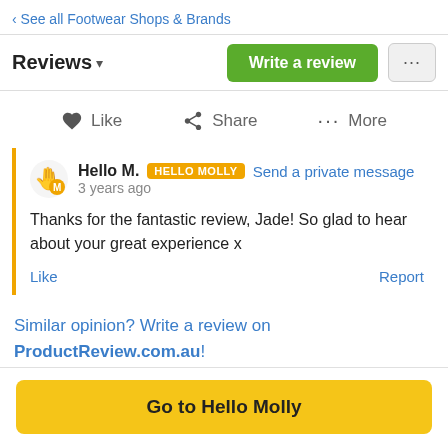‹ See all Footwear Shops & Brands
Reviews ▾
Write a review
Like   Share   More
Hello M.  HELLO MOLLY  Send a private message
3 years ago
Thanks for the fantastic review, Jade! So glad to hear about your great experience x
Like   Report
Similar opinion? Write a review on ProductReview.com.au!
Go to Hello Molly